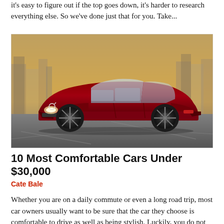it's easy to figure out if the top goes down, it's harder to research everything else. So we've done just that for you. Take...
[Figure (photo): A dark red Volvo S60 sedan photographed at low angle on a road with urban skyline in the background at dusk.]
10 Most Comfortable Cars Under $30,000
Cate Bale
Whether you are on a daily commute or even a long road trip, most car owners usually want to be sure that the car they choose is comfortable to drive as well as being stylish. Luckily, you do not